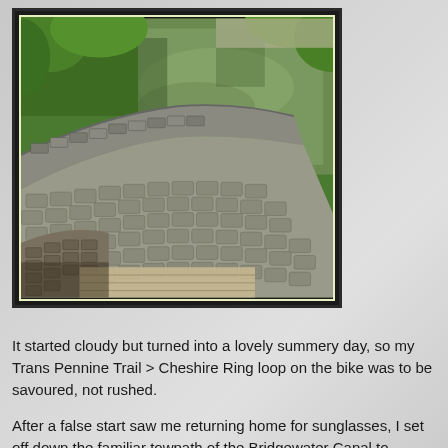[Figure (photo): Aerial/overhead view of a stone canal bridge with cobblestone surface curving over a green-watered canal, surrounded by trees and lush greenery. Photographed from above showing the curved stone parapet and towpath.]
It started cloudy but turned into a lovely summery day, so my Trans Pennine Trail > Cheshire Ring loop on the bike was to be savoured, not rushed.
After a false start saw me returning home for sunglasses, I set off down the familiar towpath of the Bridgewater Canal to Stretford. The Bridge public house by Dane Road has recently been refurbished, I think, and reports indicate that it's a good place to tarry. Perhaps we should meet there one evening.